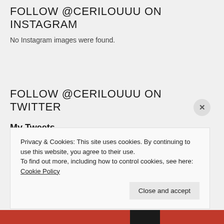FOLLOW @CERILOUUU ON INSTAGRAM
No Instagram images were found.
FOLLOW @CERILOUUU ON TWITTER
My Tweets
Privacy & Cookies: This site uses cookies. By continuing to use this website, you agree to their use.
To find out more, including how to control cookies, see here: Cookie Policy
Close and accept